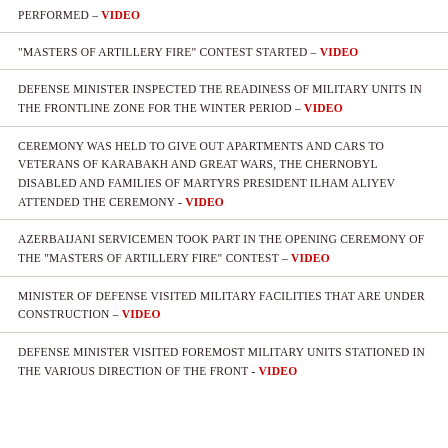PERFORMED – VIDEO
"MASTERS OF ARTILLERY FIRE" CONTEST STARTED – VIDEO
DEFENSE MINISTER INSPECTED THE READINESS OF MILITARY UNITS IN THE FRONTLINE ZONE FOR THE WINTER PERIOD – VIDEO
CEREMONY WAS HELD TO GIVE OUT APARTMENTS AND CARS TO VETERANS OF KARABAKH AND GREAT WARS, THE CHERNOBYL DISABLED AND FAMILIES OF MARTYRS PRESIDENT ILHAM ALIYEV ATTENDED THE CEREMONY - VIDEO
AZERBAIJANI SERVICEMEN TOOK PART IN THE OPENING CEREMONY OF THE "MASTERS OF ARTILLERY FIRE" CONTEST – VIDEO
MINISTER OF DEFENSE VISITED MILITARY FACILITIES THAT ARE UNDER CONSTRUCTION – VIDEO
DEFENSE MINISTER VISITED FOREMOST MILITARY UNITS STATIONED IN THE VARIOUS DIRECTION OF THE FRONT - VIDEO